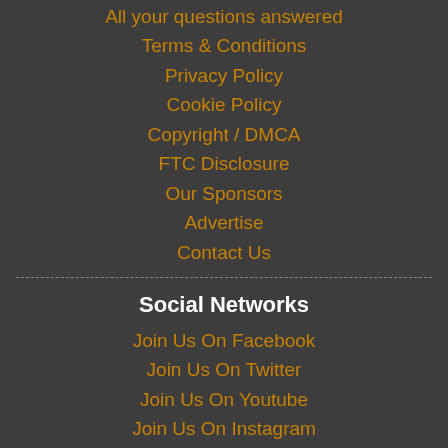All your questions answered
Terms & Conditions
Privacy Policy
Cookie Policy
Copyright / DMCA
FTC Disclosure
Our Sponsors
Advertise
Contact Us
Social Networks
Join Us On Facebook
Join Us On Twitter
Join Us On Youtube
Join Us On Instagram
Join Us On Soundcloud
Join Us On Vimeo